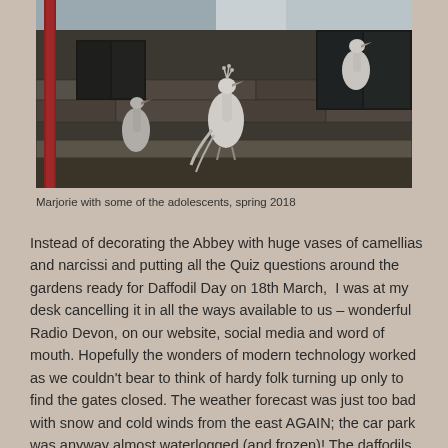[Figure (photo): Photo of Marjorie (a white peacock) with some adolescent peacocks on a stone ledge/wall of an old brick building, spring 2018. The birds are perched on a stone sill with a brick wall and windows visible behind them. A red drainpipe is visible on the left.]
Marjorie with some of the adolescents, spring 2018
Instead of decorating the Abbey with huge vases of camellias and narcissi and putting all the Quiz questions around the gardens ready for Daffodil Day on 18th March,  I was at my desk cancelling it in all the ways available to us – wonderful Radio Devon, on our website, social media and word of mouth. Hopefully the wonders of modern technology worked as we couldn't bear to think of hardy folk turning up only to find the gates closed. The weather forecast was just too bad with snow and cold winds from the east AGAIN; the car park was anyway almost waterlogged (and frozen)! The daffodils were hanging their heads in rather a depressed way so with all this we took the decision to cancel. Only once since 1996 have